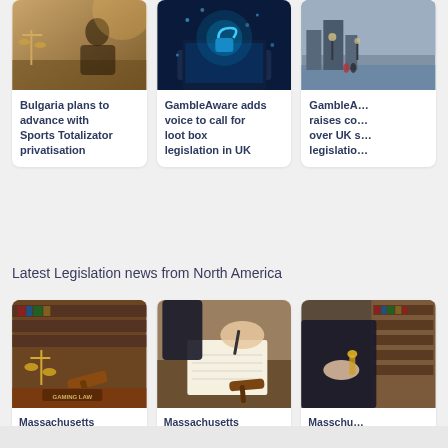[Figure (photo): Person writing at desk with scales of justice, warm office lighting]
Bulgaria plans to advance with Sports Totalizator privatisation
[Figure (photo): Digital padlock and cybersecurity concept on laptop screen]
GambleAware adds voice to call for loot box legislation in UK
[Figure (photo): London skyline with street lamps and Thames]
GambleA raises co over UK s legislatio
Latest Legislation news from North America
[Figure (photo): Gaming law gavel and scales of justice on wooden desk]
Massachusetts lawmakers reach agreement on sports betting
[Figure (photo): Person signing document with gavel on desk]
Massachusetts House-Senate sports betting bill negotiations
[Figure (photo): Person at desk with law books in background]
Masschu lawmake running time to b